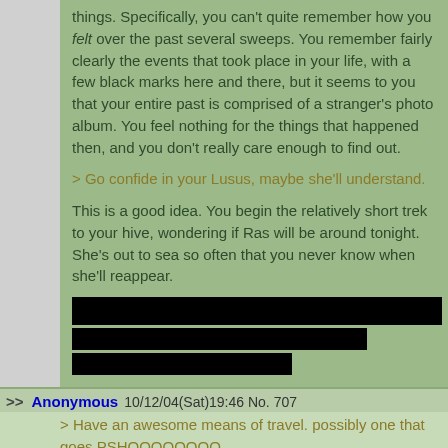things. Specifically, you can't quite remember how you felt over the past several sweeps. You remember fairly clearly the events that took place in your life, with a few black marks here and there, but it seems to you that your entire past is comprised of a stranger's photo album. You feel nothing for the things that happened then, and you don't really care enough to find out.
> Go confide in your Lusus, maybe she'll understand.
This is a good idea. You begin the relatively short trek to your hive, wondering if Ras will be around tonight. She's out to sea so often that you never know when she'll reappear.
[Figure (other): Redacted/blacked-out image block with three black rectangles]
>> Anonymous 10/12/04(Sat)19:46 No. 707
> Have an awesome means of travel. possibly one that goes PSHOOOOOOOO
>> Anonymous 10/12/04(Sat)21:47 No. 710